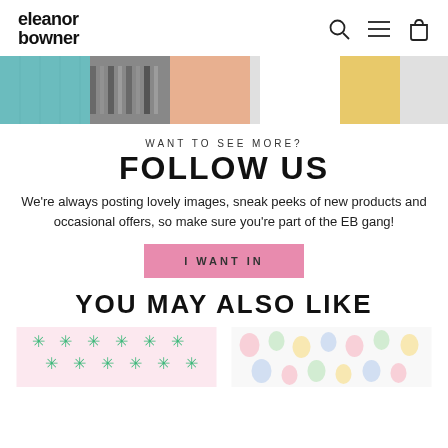eleanor bowner
[Figure (photo): Partial hero image showing colorful textile/cushion products in teal, white, orange, and gold tones]
WANT TO SEE MORE?
FOLLOW US
We're always posting lovely images, sneak peeks of new products and occasional offers, so make sure you're part of the EB gang!
I WANT IN
YOU MAY ALSO LIKE
[Figure (photo): Product thumbnail showing pink background with green star/asterisk pattern]
[Figure (photo): Product thumbnail showing white background with colorful pastel bubble/egg shapes pattern]